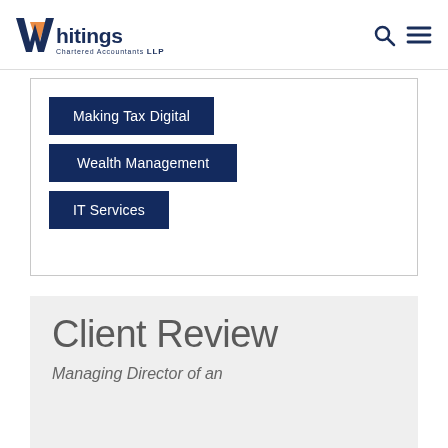Whitings Chartered Accountants LLP
Making Tax Digital
Wealth Management
IT Services
Client Review
Managing Director of an